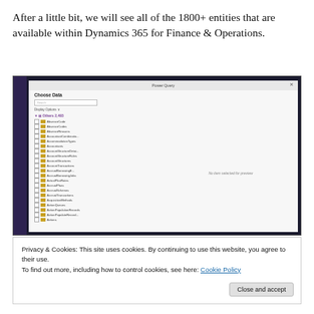After a little bit, we will see all of the 1800+ entities that are available within Dynamics 365 for Finance & Operations.
[Figure (screenshot): Screenshot of Microsoft Power BI or similar tool showing a 'Choose Data' dialog with a list of entities (AbsenceCode, AbsenceCodes, AbsenceReasons, AccountantCombinations, AccommodationTypes, Accountants, AccountStructureDetails, AccountStructureRules, AccountStructures, AccountTransactions, AccrualBorrowingE..., AccrualBorrowingJobs, ActualPlanRates, AccrualPlans, AccrualSchemes, AccrualTransactions, AcquisitionMethods, ActionQueues, ActionPopulationRecords, ActionPopulateRecord..., Actions) on the left panel and a preview panel on the right showing 'No item selected for preview'. The background is dark purple/navy with a light sidebar on the right.]
Privacy & Cookies: This site uses cookies. By continuing to use this website, you agree to their use.
To find out more, including how to control cookies, see here: Cookie Policy